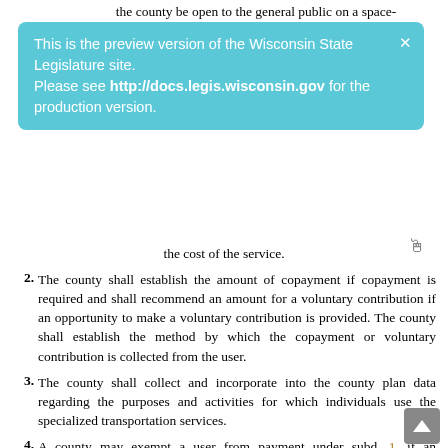the county be open to the general public on a space-
This is the preview version of the Wisconsin State Legislature site. Please see http://docs.legis.wisconsin.gov for the production version.
the cost of the service.
2. The county shall establish the amount of copayment if copayment is required and shall recommend an amount for a voluntary contribution if an opportunity to make a voluntary contribution is provided. The county shall establish the method by which the copayment or voluntary contribution is collected from the user.
3. The county shall collect and incorporate into the county plan data regarding the purposes and activities for which individuals use the specialized transportation services.
4. A county may exempt a user from payment under subd. 1. if an emergency exists, if the user does not have the economic resources to make a payment or if the user is not competent to make a payment.
(d) A county may not use aids provided under this section to support the regular route services of an urban mass transit system receiving state aids under s. 85.20. A county may use aids provided under this section to support subsystems of urban mass transit systems that provide special services